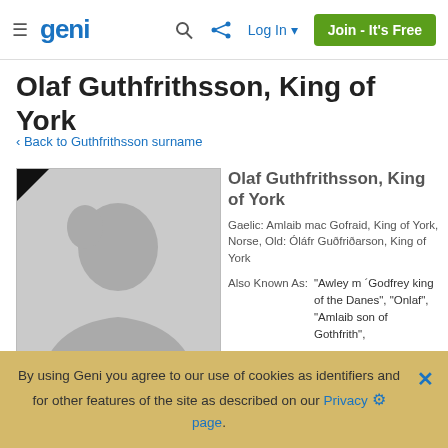Geni — navigation header with logo, search, share, Log In, Join - It's Free
Olaf Guthfrithsson, King of York
‹ Back to Guthfrithsson surname
[Figure (photo): Default silhouette profile photo placeholder with black corner triangle]
Olaf Guthfrithsson, King of York
Gaelic: Amlaib mac Gofraid, King of York, Norse, Old: Óláfr Guðfriðarson, King of York
Also Known As: "Awley m ´Godfrey king of the Danes", "Onlaf", "Amlaib son of Gothfrith",
By using Geni you agree to our use of cookies as identifiers and for other features of the site as described on our Privacy page.